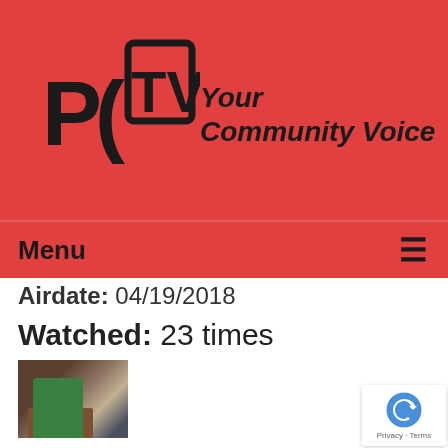[Figure (logo): PCTV Your Community Voice logo on red background]
Menu ≡
Airdate: 04/19/2018
Watched: 23 times
[Figure (screenshot): Thumbnail of a video showing a person at a podium in a library]
The Board of Education Meeting of 03-27-18
Airdate: 03/27/2018